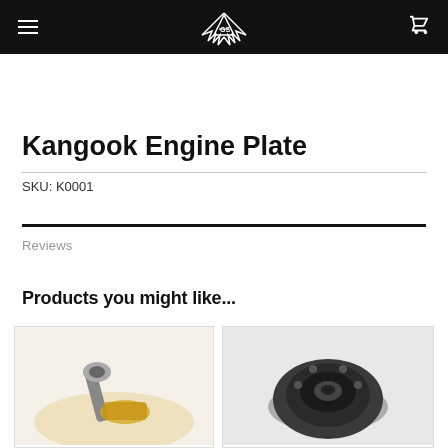Navigation header with hamburger menu, GS winged logo, and cart icon
Kangook Engine Plate
SKU: K0001
Reviews
Products you might like...
[Figure (photo): Product thumbnail image left - partial view of a product on warm background]
[Figure (photo): Product thumbnail image right - dark round engine-related part on grey background]